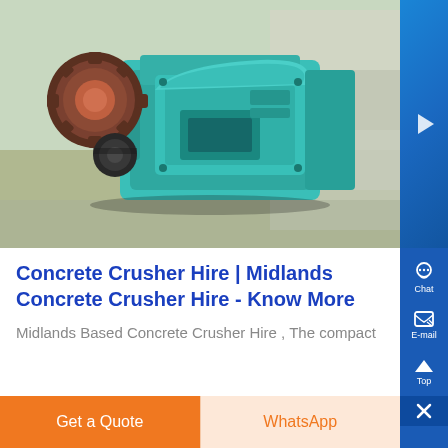[Figure (photo): Industrial concrete crusher / jaw crusher machine, teal/green colored heavy machinery with gears and rollers, in a warehouse/factory setting]
Concrete Crusher Hire | Midlands Concrete Crusher Hire - Know More
Midlands Based Concrete Crusher Hire , The compact
Get a Quote
WhatsApp